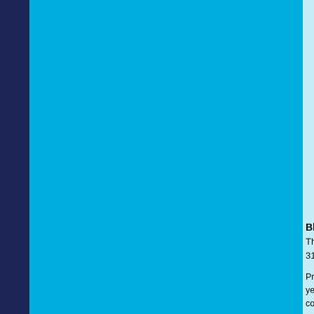Linda -
Sammy -
Mr. Lyons -
-
Policeman / Teacher -
Donna Marie / Miss Jones -
Perkins -
-
Neighbour -
-
Brenda -
-
Bus Conductor -
-
Blood Brothers
The Empire Theatre, Liverpool
31st December 2007 - 26th January
Producer Bill Kenwright staged a s year as European Capital Of Culture commenting to the local press that d